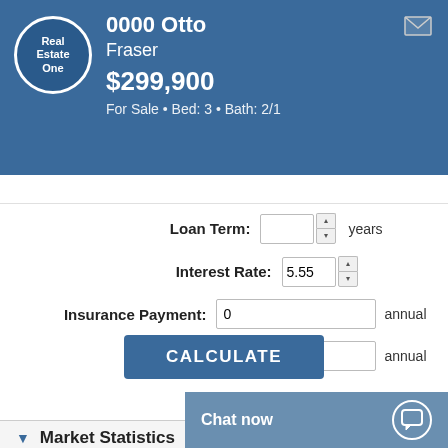0000 Otto Fraser $299,900 For Sale • Bed: 3 • Bath: 2/1
[Figure (logo): Real Estate One circular logo]
Loan Term: [input] years
Interest Rate: 5.55 [spinner]
Insurance Payment: 0 annual
Taxes: [input] annual
CALCULATE
▶ Get Pre-Approved
▼ Market Statistics
▼ Property History
Chat now